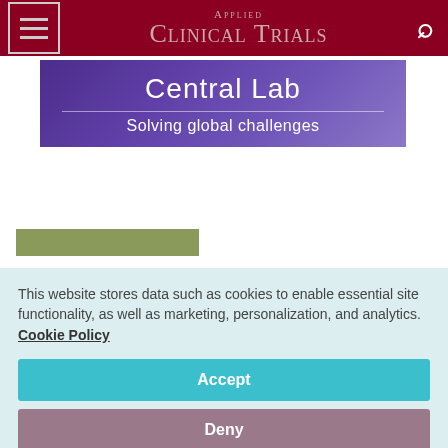Applied Clinical Trials
[Figure (illustration): Purple banner with text 'Central Lab' and subtitle 'Solving global challenges']
[Figure (other): Olive/sage green rectangle placeholder]
This website stores data such as cookies to enable essential site functionality, as well as marketing, personalization, and analytics. Cookie Policy
Accept
Deny